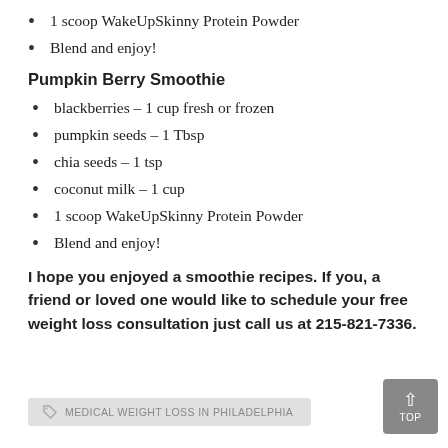1 scoop WakeUpSkinny Protein Powder
Blend and enjoy!
Pumpkin Berry Smoothie
blackberries – 1 cup fresh or frozen
pumpkin seeds – 1 Tbsp
chia seeds – 1 tsp
coconut milk – 1 cup
1 scoop WakeUpSkinny Protein Powder
Blend and enjoy!
I hope you enjoyed a smoothie recipes. If you, a friend or loved one would like to schedule your free weight loss consultation just call us at 215-821-7336.
MEDICAL WEIGHT LOSS IN PHILADELPHIA